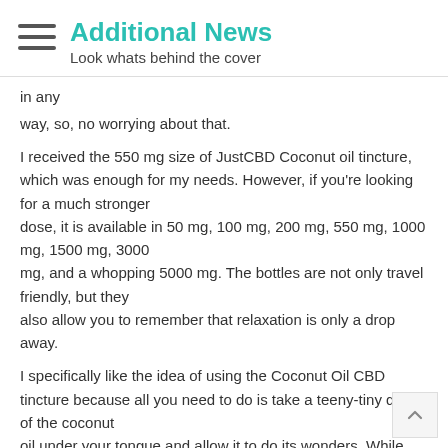Additional News — Look whats behind the cover
in any
way, so, no worrying about that.
I received the 550 mg size of JustCBD Coconut oil tincture, which was enough for my needs. However, if you're looking for a much stronger
dose, it is available in 50 mg, 100 mg, 200 mg, 550 mg, 1000 mg, 1500 mg, 3000
mg, and a whopping 5000 mg. The bottles are not only travel friendly, but they
also allow you to remember that relaxation is only a drop away.
I specifically like the idea of using the Coconut Oil CBD
tincture because all you need to do is take a teeny-tiny drop of the coconut
oil under your tongue and allow it to do its wonders. While you can also
consume it by adding it into your tea, coffee, or other liquids but my favorite
way to consume it is the more direct manner – right under your